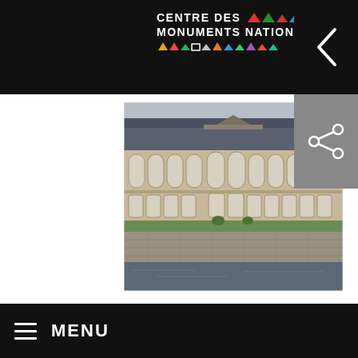CENTRE DES MONUMENTS NATIONAUX
[Figure (photo): Exterior facade of a large classical French stone building (likely an abbey or national monument) with a blue-grey mansard roof, multiple ornate tall windows with arched tops, a central triangular pediment, reflected in a water-filled moat or canal in the foreground with a stone retaining wall. Green lawn visible between building and wall. Overcast sky.]
MENU